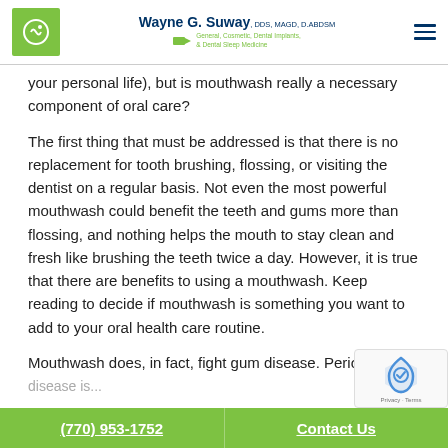Wayne G. Suway, DDS, MAGD, DABDSM — General, Cosmetic, Dental Implants, & Dental Sleep Medicine
your personal life), but is mouthwash really a necessary component of oral care?
The first thing that must be addressed is that there is no replacement for tooth brushing, flossing, or visiting the dentist on a regular basis. Not even the most powerful mouthwash could benefit the teeth and gums more than flossing, and nothing helps the mouth to stay clean and fresh like brushing the teeth twice a day. However, it is true that there are benefits to using a mouthwash. Keep reading to decide if mouthwash is something you want to add to your oral health care routine.
Mouthwash does, in fact, fight gum disease. Periodontal disease is...
(770) 953-1752   Contact Us